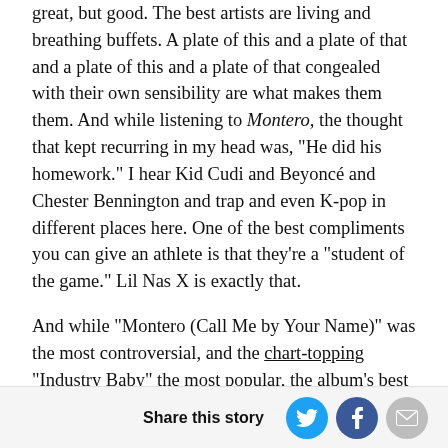great, but good. The best artists are living and breathing buffets. A plate of this and a plate of that and a plate of this and a plate of that congealed with their own sensibility are what makes them them. And while listening to Montero, the thought that kept recurring in my head was, "He did his homework." I hear Kid Cudi and Beyoncé and Chester Bennington and trap and even K-pop in different places here. One of the best compliments you can give an athlete is that they're a "student of the game." Lil Nas X is exactly that.
And while "Montero (Call Me by Your Name)" was the most controversial, and the chart-topping "Industry Baby" the most popular, the album's best song – and the best song of 2021 – is "Dead Right Now." Produced by frequent collaborators Take a Daytrin (along with
Share this story